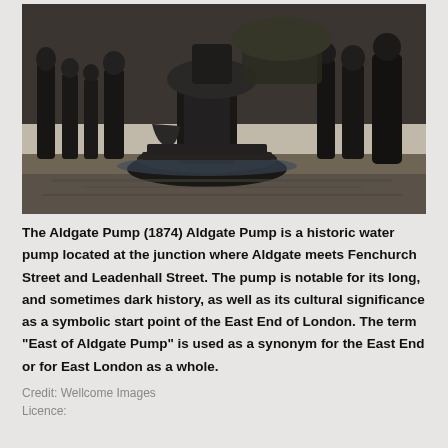[Figure (photo): Black and white historical photograph (1874) of the Aldgate Pump, showing people gathered around a large water pump structure on a wet cobbled street.]
The Aldgate Pump (1874) Aldgate Pump is a historic water pump located at the junction where Aldgate meets Fenchurch Street and Leadenhall Street. The pump is notable for its long, and sometimes dark history, as well as its cultural significance as a symbolic start point of the East End of London. The term "East of Aldgate Pump" is used as a synonym for the East End or for East London as a whole.
Credit: Wellcome Images
Licence: